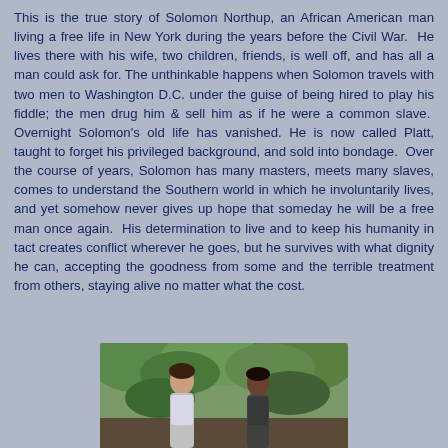This is the true story of Solomon Northup, an African American man living a free life in New York during the years before the Civil War.  He lives there with his wife, two children, friends, is well off, and has all a man could ask for.  The unthinkable happens when Solomon travels with two men to Washington D.C. under the guise of being hired to play his fiddle; the men drug him & sell him as if he were a common slave.  Overnight Solomon's old life has vanished.  He is now called Platt, taught to forget his privileged background, and sold into bondage.  Over the course of years, Solomon has many masters, meets many slaves, comes to understand the Southern world in which he involuntarily lives, and yet somehow never gives up hope that someday he will be a free man once again.  His determination to live and to keep his humanity in tact creates conflict wherever he goes, but he survives with what dignity he can, accepting the goodness from some and the terrible treatment from others, staying alive no matter what the cost.
[Figure (photo): A photo showing two people, partially visible, in an outdoor setting with green foliage in the background.]